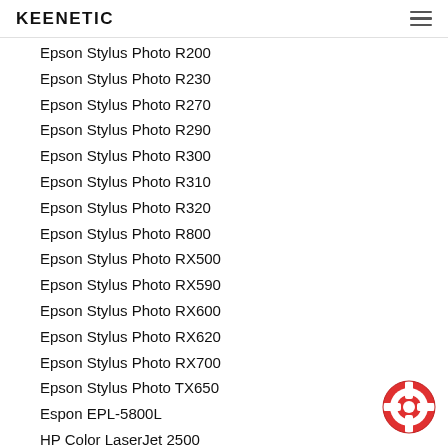KEENETIC
Epson Stylus Photo R200
Epson Stylus Photo R230
Epson Stylus Photo R270
Epson Stylus Photo R290
Epson Stylus Photo R300
Epson Stylus Photo R310
Epson Stylus Photo R320
Epson Stylus Photo R800
Epson Stylus Photo RX500
Epson Stylus Photo RX590
Epson Stylus Photo RX600
Epson Stylus Photo RX620
Epson Stylus Photo RX700
Epson Stylus Photo TX650
Espon EPL-5800L
HP Color LaserJet 2500
HP Color LaserJet 2550